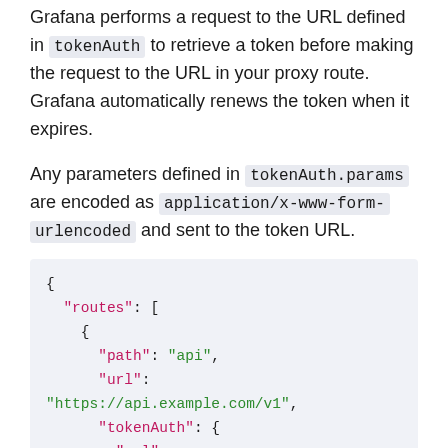Grafana performs a request to the URL defined in tokenAuth to retrieve a token before making the request to the URL in your proxy route. Grafana automatically renews the token when it expires.
Any parameters defined in tokenAuth.params are encoded as application/x-www-form-urlencoded and sent to the token URL.
[Figure (other): JSON code block showing routes configuration with path, url, tokenAuth containing url and params fields]